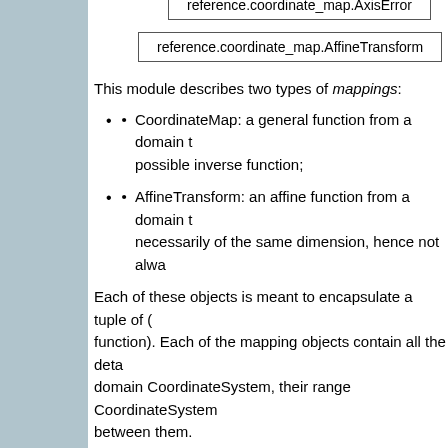reference.coordinate_map.AxisError
reference.coordinate_map.AffineTransform
This module describes two types of mappings:
CoordinateMap: a general function from a domain to possible inverse function;
AffineTransform: an affine function from a domain to necessarily of the same dimension, hence not alwa
Each of these objects is meant to encapsulate a tuple of ( function). Each of the mapping objects contain all the deta domain CoordinateSystem, their range CoordinateSystem between them.
Common API
They are separate classes, neither one inheriting from the however, share some parts of an API, each having metho
renamed_domain : rename on the coordinates of th a new mapping).